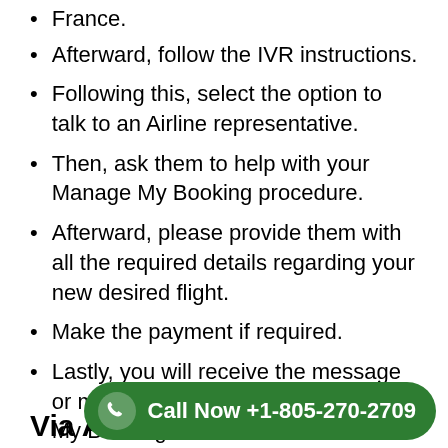France.
Afterward, follow the IVR instructions.
Following this, select the option to talk to an Airline representative.
Then, ask them to help with your Manage My Booking procedure.
Afterward, please provide them with all the required details regarding your new desired flight.
Make the payment if required.
Lastly, you will receive the message or mail for your Air France Manage My Booking.
Via Airline Ticket Counter